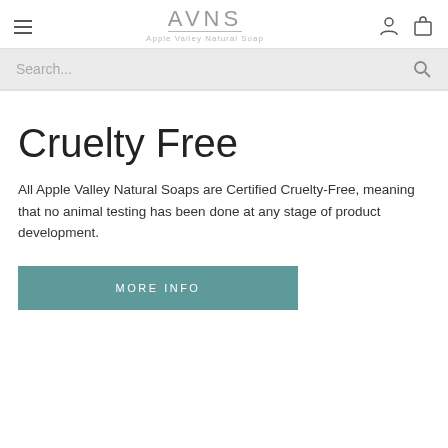AVNS Apple Valley Natural Soap
Cruelty Free
All Apple Valley Natural Soaps are Certified Cruelty-Free, meaning that no animal testing has been done at any stage of product development.
MORE INFO